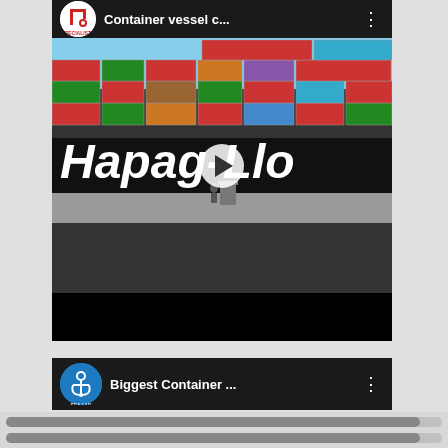[Figure (screenshot): YouTube-style video card showing a container vessel with Hapag-Lloyd branding. Header shows Heavy Lift Specialists channel logo and title 'Container vessel c...' with menu dots. Video thumbnail shows a large Hapag-Lloyd container ship loaded with colorful shipping containers, with a play button overlay. Below the thumbnail is a black controls bar.]
[Figure (screenshot): Second YouTube-style video card partially visible at bottom. Shows Sea Lad channel logo (anchor icon on blue circle) and title 'Biggest Container ...' with menu dots.]